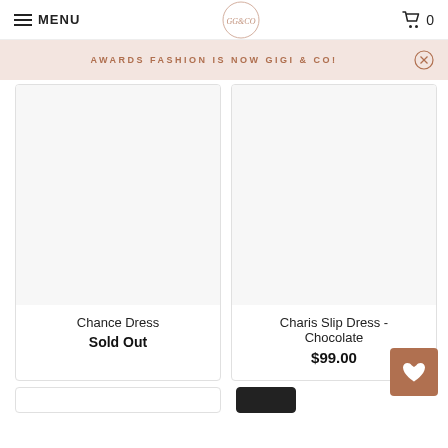MENU  [logo: GG&CO]  0
AWARDS FASHION IS NOW GIGI & CO!
[Figure (photo): Product image placeholder for Chance Dress (white/blank)]
Chance Dress
Sold Out
[Figure (photo): Product image placeholder for Charis Slip Dress - Chocolate (white/blank)]
Charis Slip Dress - Chocolate
$99.00